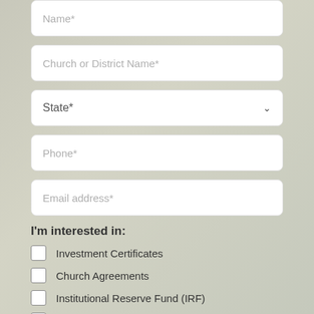Name*
Church or District Name*
State*
Phone*
Email address*
I'm interested in:
Investment Certificates
Church Agreements
Institutional Reserve Fund (IRF)
Ministry Gift Fund (MGF)